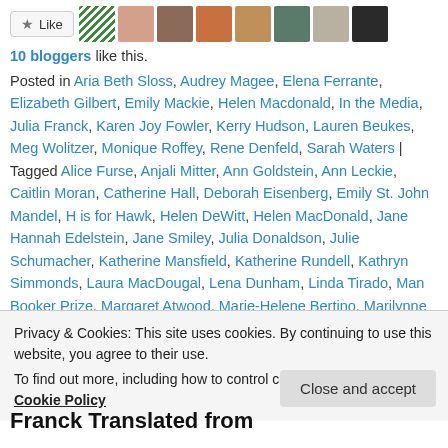[Figure (other): Like button with star icon and row of blogger avatar thumbnails]
10 bloggers like this.
Posted in Aria Beth Sloss, Audrey Magee, Elena Ferrante, Elizabeth Gilbert, Emily Mackie, Helen Macdonald, In the Media, Julia Franck, Karen Joy Fowler, Kerry Hudson, Lauren Beukes, Meg Wolitzer, Monique Roffey, Rene Denfeld, Sarah Waters | Tagged Alice Furse, Anjali Mitter, Ann Goldstein, Ann Leckie, Caitlin Moran, Catherine Hall, Deborah Eisenberg, Emily St. John Mandel, H is for Hawk, Helen DeWitt, Helen MacDonald, Jane Hannah Edelstein, Jane Smiley, Julia Donaldson, Julie Schumacher, Katherine Mansfield, Katherine Rundell, Kathryn Simmonds, Laura MacDougal, Lena Dunham, Linda Tirado, Man Booker Prize, Margaret Atwood, Marie-Helene Bertino, Marilynne Robinson, Marina Keegan, Mira Jacob, Rebecca Wait, Roxane Gay, Sali Hughes, Samantha Ellis,
Privacy & Cookies: This site uses cookies. By continuing to use this website, you agree to their use.
To find out more, including how to control cookies, see here: Cookie Policy
Franck Translated from